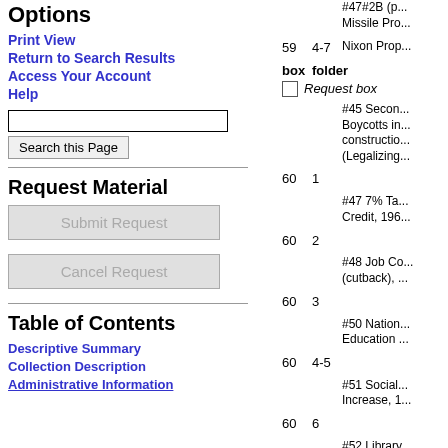Options
Print View
Return to Search Results
Access Your Account
Help
Request Material
Table of Contents
Descriptive Summary
Collection Description
Administrative Information
| box | folder |  |
| --- | --- | --- |
|  |  | #47#2B (partial) Missile Pro... |
| 59 | 4-7 | Nixon Prop... |
|  |  | Request box |
|  |  | #45 Seco... Boycotts in... constructio... (Legalizing... |
| 60 | 1 |  |
|  |  | #47 7% Ta... Credit, 196... |
| 60 | 2 |  |
|  |  | #48 Job C... (cutback),... |
| 60 | 3 |  |
|  |  | #50 Natio... Education ... |
| 60 | 4-5 |  |
|  |  | #51 Social... Increase, 1... |
| 60 | 6 |  |
|  |  | #52 Library... and Constr... 1969 |
| 60 | 7 |  |
| box | folder |  |
|  |  | Request box |